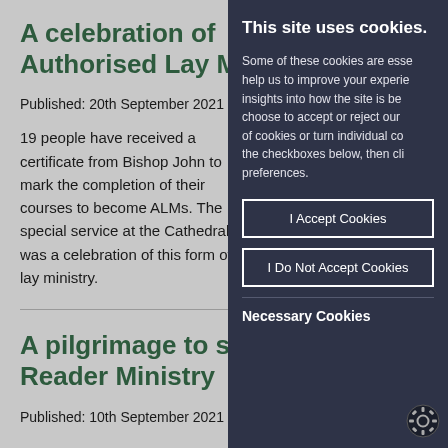A celebration of Authorised Lay Ministry
Published: 20th September 2021
19 people have received a certificate from Bishop John to mark the completion of their courses to become ALMs. The special service at the Cathedral was a celebration of this form of lay ministry.
A pilgrimage to start Reader Ministry
Published: 10th September 2021
This site uses cookies.
Some of these cookies are essential, help us to improve your experience, give insights into how the site is being used, choose to accept or reject our use of cookies or turn individual cookies on in the checkboxes below, then click your preferences.
I Accept Cookies
I Do Not Accept Cookies
Necessary Cookies